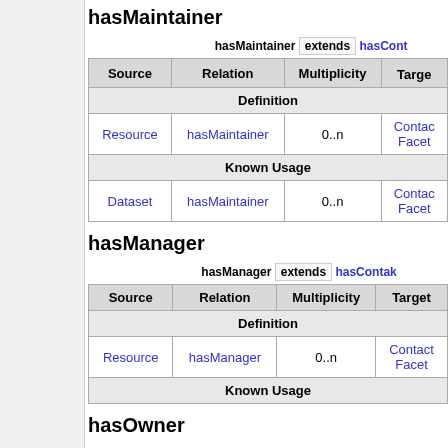hasMaintainer
| Source | Relation | Multiplicity | Target |
| --- | --- | --- | --- |
| Definition |  |  |  |
| Resource | hasMaintainer | 0..n | ContactFacet |
| Known Usage |  |  |  |
| Dataset | hasMaintainer | 0..n | ContactFacet |
hasManager
| Source | Relation | Multiplicity | Target |
| --- | --- | --- | --- |
| Definition |  |  |  |
| Resource | hasManager | 0..n | ContactFacet |
| Known Usage |  |  |  |
hasOwner